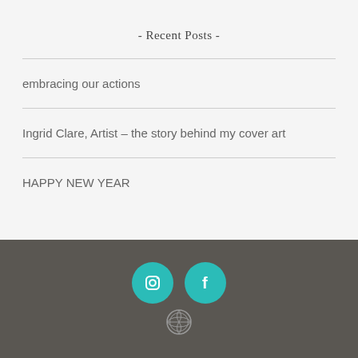- Recent Posts -
embracing our actions
Ingrid Clare, Artist – the story behind my cover art
HAPPY NEW YEAR
[Figure (illustration): Instagram and Facebook social media icons as teal circles with white logos, and a WordPress icon below them, on a dark gray footer background.]